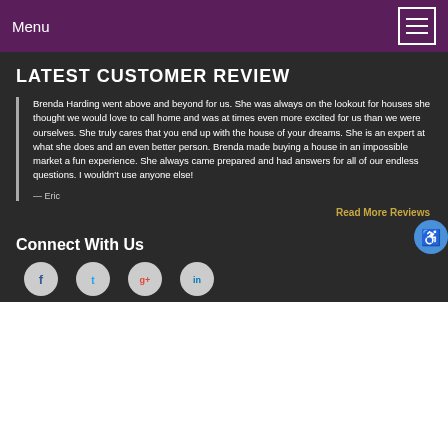Menu
LATEST CUSTOMER REVIEW
Brenda Harding went above and beyond for us. She was always on the lookout for houses she thought we would love to call home and was at times even more excited for us than we were ourselves. She truly cares that you end up with the house of your dreams. She is an expert at what she does and an even better person. Brenda made buying a house in an impossible market a fun experience. She always came prepared and had answers for all of our endless questions. I wouldn't use anyone else!
— Eric
Read More Reviews
Connect With Us